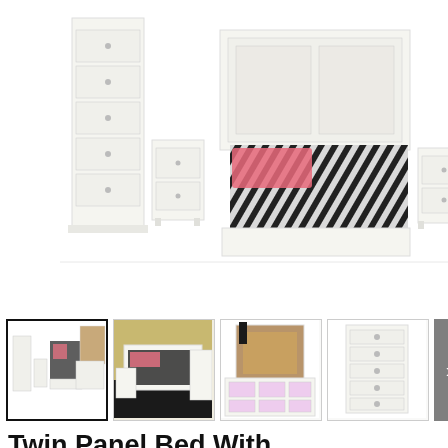[Figure (photo): White bedroom furniture set including a twin panel bed with pink and zebra print bedding, two nightstands, a chest with 5 drawers, a dresser with 6 drawers, and a mirror — all in white finish, displayed on white background]
[Figure (photo): Thumbnail 1 (selected): Full bedroom set with bed, chest, nightstands, dresser and mirror on white background]
[Figure (photo): Thumbnail 2: Bedroom set displayed in a room setting with black rug, yellow/gold walls]
[Figure (photo): Thumbnail 3: Close-up of white dresser with mirror and decorative items on top, brown cork board in mirror]
[Figure (photo): Thumbnail 4: Close-up of white chest of drawers with 5 drawers]
Twin Panel Bed With Mirrored Dresser, Chest